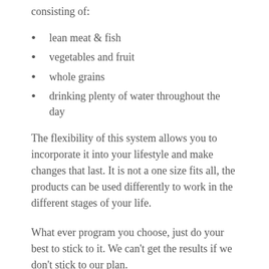consisting of:
lean meat & fish
vegetables and fruit
whole grains
drinking plenty of water throughout the day
The flexibility of this system allows you to incorporate it into your lifestyle and make changes that last. It is not a one size fits all, the products can be used differently to work in the different stages of your life.
What ever program you choose, just do your best to stick to it. We can’t get the results if we don’t stick to our plan.
Have fun and make 2015 a healthy one!